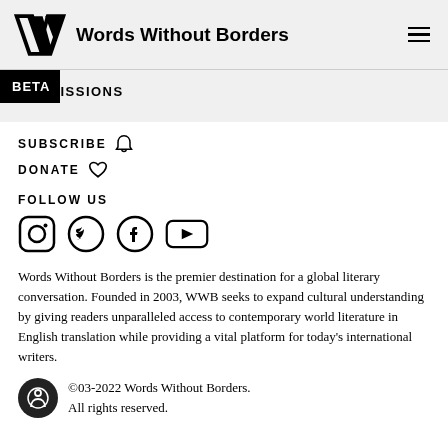Words Without Borders
BETA  ISSIONS
SUBSCRIBE
DONATE
FOLLOW US
[Figure (other): Social media icons: Instagram, Twitter, Facebook, YouTube]
Words Without Borders is the premier destination for a global literary conversation. Founded in 2003, WWB seeks to expand cultural understanding by giving readers unparalleled access to contemporary world literature in English translation while providing a vital platform for today’s international writers.
©03-2022 Words Without Borders. All rights reserved.